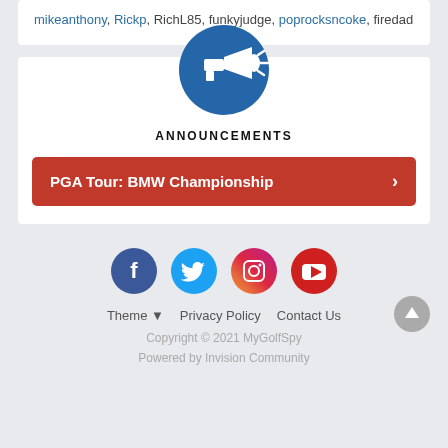mikeanthony, Rickp, RichL85, funkyjudge, poprocksncoke, firedad
[Figure (illustration): Blue circle with white megaphone icon]
ANNOUNCEMENTS
PGA Tour: BMW Championship
[Figure (illustration): Social media icons: Facebook, Twitter, Instagram, YouTube]
Theme | Privacy Policy | Contact Us | Copyright © 2021 MyGolfSpy | Powered by Invision Community